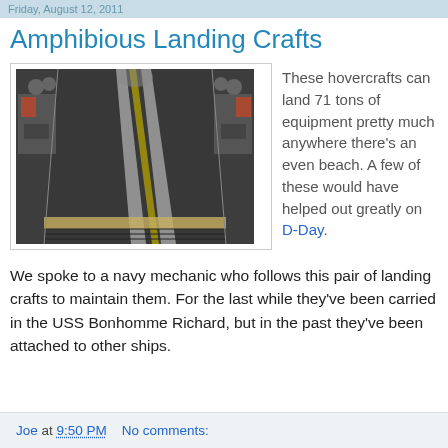Friday, August 12, 2011
Amphibious Landing Crafts
[Figure (photo): Interior view of a hovercraft landing deck showing a long central runway with yellow stripe, flanked by heavy machinery and equipment on both sides, inside a ship's well deck.]
These hovercrafts can land 71 tons of equipment pretty much anywhere there's an even beach. A few of these would have helped out greatly on D-Day.
We spoke to a navy mechanic who follows this pair of landing crafts to maintain them. For the last while they've been carried in the USS Bonhomme Richard, but in the past they've been attached to other ships.
Joe at 9:50 PM   No comments: